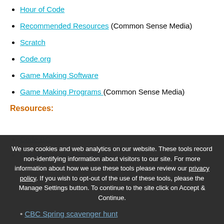Hour of Code
Recommended Resources (Common Sense Media)
Scratch
Code.org
Game Making Software
Game Making Programs (Common Sense Media)
Resources:
Code BC
List of Compiled Resources
CBC Spring scavenger hunt
Oc...
Daily Stem
We use cookies and web analytics on our website. These tools record non-identifying information about visitors to our site. For more information about how we use these tools please review our privacy policy. If you wish to opt-out of the use of these tools, please the Manage Settings button. To continue to the site click on Accept & Continue.